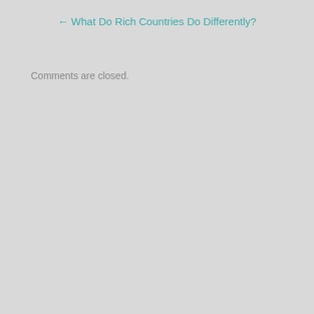← What Do Rich Countries Do Differently?
Comments are closed.